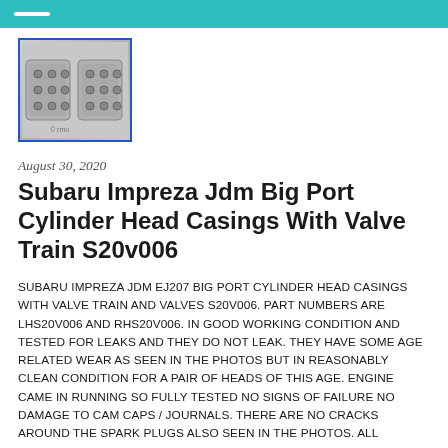[Figure (photo): Photo of Subaru Impreza JDM Big Port Cylinder Head Casings with valve train, showing two metallic cylinder heads side by side, with a blue border frame.]
August 30, 2020
Subaru Impreza Jdm Big Port Cylinder Head Casings With Valve Train S20v006
SUBARU IMPREZA JDM EJ207 BIG PORT CYLINDER HEAD CASINGS WITH VALVE TRAIN AND VALVES S20V006. PART NUMBERS ARE LHS20V006 AND RHS20V006. IN GOOD WORKING CONDITION AND TESTED FOR LEAKS AND THEY DO NOT LEAK. THEY HAVE SOME AGE RELATED WEAR AS SEEN IN THE PHOTOS BUT IN REASONABLY CLEAN CONDITION FOR A PAIR OF HEADS OF THIS AGE. ENGINE CAME IN RUNNING SO FULLY TESTED NO SIGNS OF FAILURE NO DAMAGE TO CAM CAPS / JOURNALS. THERE ARE NO CRACKS AROUND THE SPARK PLUGS ALSO SEEN IN THE PHOTOS. ALL THREADS FOR THE ROCKER COVER CASE ARE IN GOOD WORKING ORDER AS ARE ALL OTHER THREADS. THESE WHERE REMOVED FROM...